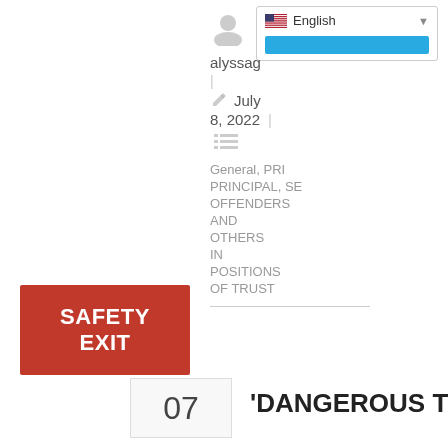[Figure (screenshot): Language selector dropdown showing English with US flag and blue bar]
alyssag
|
July 8, 2022  |
[Figure (other): List/menu icon (three horizontal lines)]
General, PRI
PRINCIPAL, SE
OFFENDERS
AND
OTHERS
IN
POSITIONS
OF TRUST
[Figure (other): Red SAFETY EXIT button]
07
'DANGEROUS TO